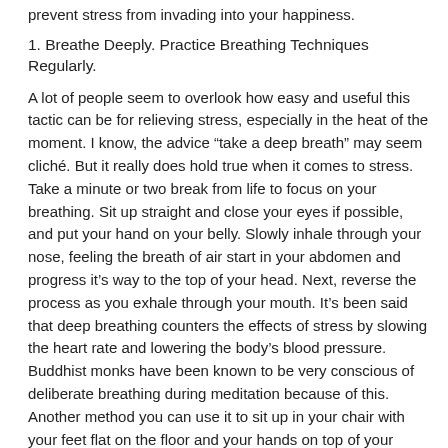prevent stress from invading into your happiness.
1. Breathe Deeply. Practice Breathing Techniques Regularly.
A lot of people seem to overlook how easy and useful this tactic can be for relieving stress, especially in the heat of the moment. I know, the advice “take a deep breath” may seem cliché. But it really does hold true when it comes to stress. Take a minute or two break from life to focus on your breathing. Sit up straight and close your eyes if possible, and put your hand on your belly. Slowly inhale through your nose, feeling the breath of air start in your abdomen and progress it’s way to the top of your head. Next, reverse the process as you exhale through your mouth. It’s been said that deep breathing counters the effects of stress by slowing the heart rate and lowering the body’s blood pressure. Buddhist monks have been known to be very conscious of deliberate breathing during meditation because of this. Another method you can use it to sit up in your chair with your feet flat on the floor and your hands on top of your knees. Breathe in and out slowly, with deep full breaths while also concentrating on your lungs as they expand and contract in your chest.
Many doctors and researchers have actually found that shallow breathing is consistent with increased stress and deep breathing fills your blood with oxygen and in turn helps to